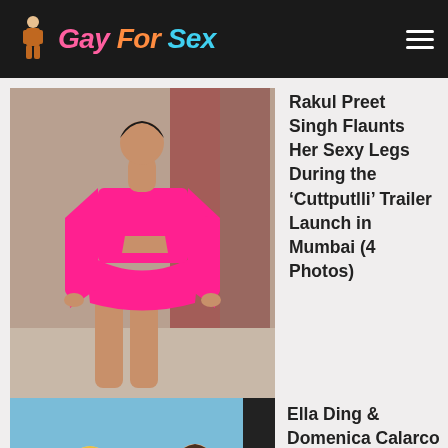Gay For Sex
[Figure (photo): Woman in bright pink blazer and mini skirt outfit showing legs]
Rakul Preet Singh Flaunts Her Sexy Legs During the ‘Cuttputlli’ Trailer Launch in Mumbai (4 Photos)
[Figure (photo): Two women on a boat or near water, partially visible]
Ella Ding & Domenica Calarco Show Off Their Nude Tits While on Holiday...